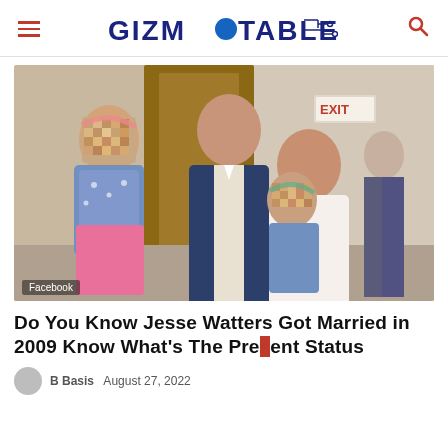GIZMOTABLE
[Figure (photo): A man and woman each holding a young child with pixelated faces, standing indoors at an event. A red EXIT sign is visible in the background. Photo credit: Facebook.]
Do You Know Jesse Watters Got Married in 2009 Know What's The Present Status
B Basis  August 27, 2022